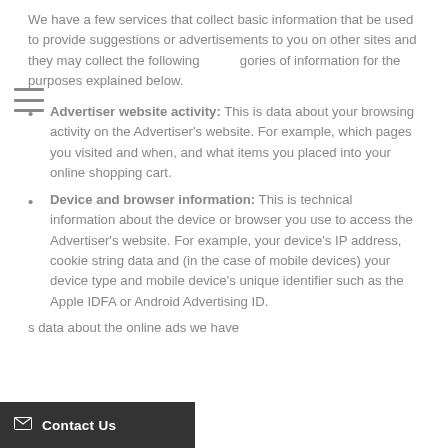We have a few services that collect basic information that be used to provide suggestions or advertisements to you on other sites and they may collect the following categories of information for the purposes explained below.
Advertiser website activity: This is data about your browsing activity on the Advertiser's website. For example, which pages you visited and when, and what items you placed into your online shopping cart.
Device and browser information: This is technical information about the device or browser you use to access the Advertiser's website. For example, your device's IP address, cookie string data and (in the case of mobile devices) your device type and mobile device's unique identifier such as the Apple IDFA or Android Advertising ID.
s data about the online ads we have